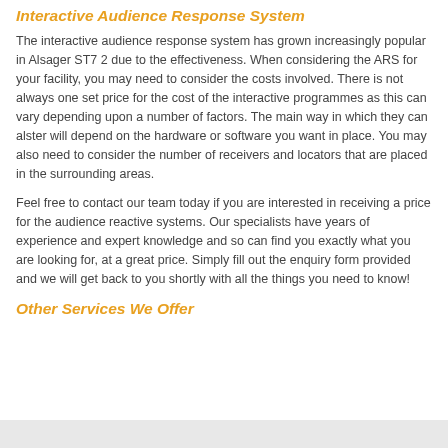Interactive Audience Response System
The interactive audience response system has grown increasingly popular in Alsager ST7 2 due to the effectiveness. When considering the ARS for your facility, you may need to consider the costs involved. There is not always one set price for the cost of the interactive programmes as this can vary depending upon a number of factors. The main way in which they can alster will depend on the hardware or software you want in place. You may also need to consider the number of receivers and locators that are placed in the surrounding areas.
Feel free to contact our team today if you are interested in receiving a price for the audience reactive systems. Our specialists have years of experience and expert knowledge and so can find you exactly what you are looking for, at a great price. Simply fill out the enquiry form provided and we will get back to you shortly with all the things you need to know!
Other Services We Offer